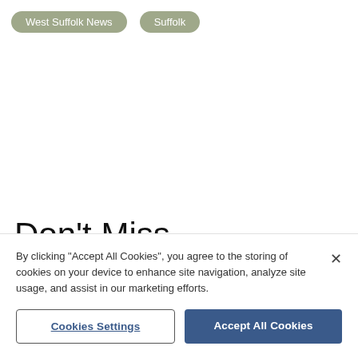West Suffolk News
Suffolk
Don't Miss
By clicking “Accept All Cookies”, you agree to the storing of cookies on your device to enhance site navigation, analyze site usage, and assist in our marketing efforts.
Cookies Settings
Accept All Cookies